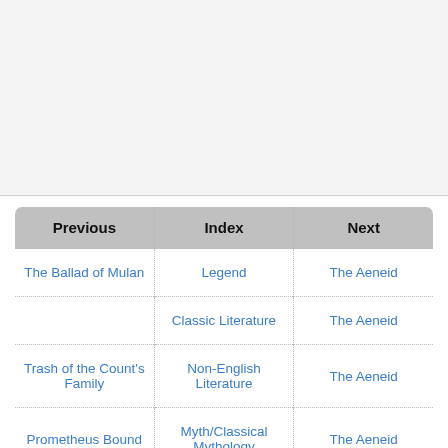| Previous | Index | Next |
| --- | --- | --- |
| The Ballad of Mulan | Legend | The Aeneid |
|  | Classic Literature | The Aeneid |
| Trash of the Count's Family | Non-English Literature | The Aeneid |
| Prometheus Bound | Myth/Classical Mythology | The Aeneid |